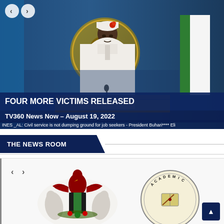[Figure (screenshot): Nigerian TV news broadcast showing President Buhari in white traditional attire sitting at a podium with Nigerian coat of arms behind him, and Nigerian flag to the right. Lower thirds show news ticker bars.]
FOUR MORE VICTIMS RELEASED
TV360 News Now – August 19, 2022
INES _AL: Civil service is not dumping ground for job seekers - President Buhari**** Eli
THE NEWS ROOM
[Figure (photo): Two logos side by side: left shows Nigerian coat of arms (eagle, horses), right shows Academic Staff Union of Universities (ASUU) circular seal.]